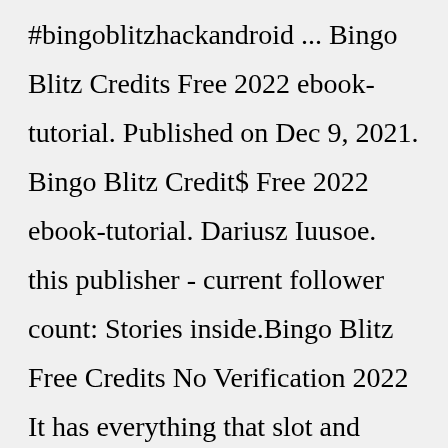#bingoblitzhackandroid ... Bingo Blitz Credits Free 2022 ebook-tutorial. Published on Dec 9, 2021. Bingo Blitz Credit$ Free 2022 ebook-tutorial. Dariusz Iuusoe. this publisher - current follower count: Stories inside.Bingo Blitz Free Credits No Verification 2022 It has everything that slot and bingo enthusiasts would like to be offered. Tons of games, the largest online community, integration with social